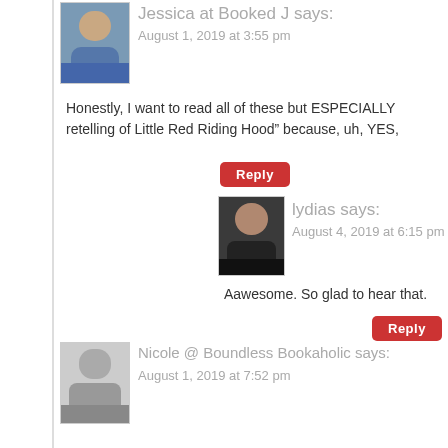Jessica at Booked J says:
August 1, 2019 at 3:55 pm
Honestly, I want to read all of these but ESPECIALLY retelling of Little Red Riding Hood” because, uh, YES,
Reply
lydias says:
August 4, 2019 at 6:15 pm
Aawesome. So glad to hear that.
Reply
Nicole @ Boundless Bookaholic says:
August 1, 2019 at 7:52 pm
What a great topic for this freebie! I’ve only heard of a what the others are about.
Reply
lydias says:
August 4, 2019 at 6:15 pm